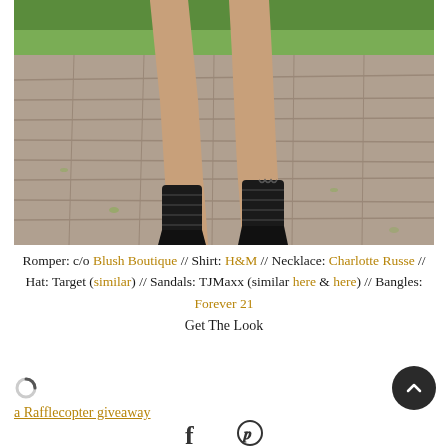[Figure (photo): Close-up photo of a person's legs wearing black strappy lace-up wedge sandals, standing on a stone cobblestone/brick paved surface with green grass visible in the background.]
Romper: c/o Blush Boutique // Shirt: H&M // Necklace: Charlotte Russe // Hat: Target (similar) // Sandals: TJMaxx (similar here & here) // Bangles: Forever 21
Get The Look
a Rafflecopter giveaway